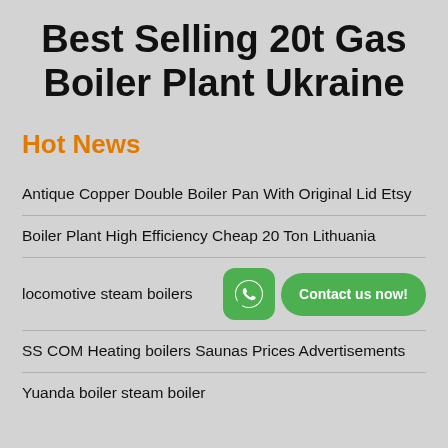Best Selling 20t Gas Boiler Plant Ukraine
Hot News
Antique Copper Double Boiler Pan With Original Lid Etsy
Boiler Plant High Efficiency Cheap 20 Ton Lithuania
locomotive steam boilers
SS COM Heating boilers Saunas Prices Advertisements
Yuanda boiler steam boiler